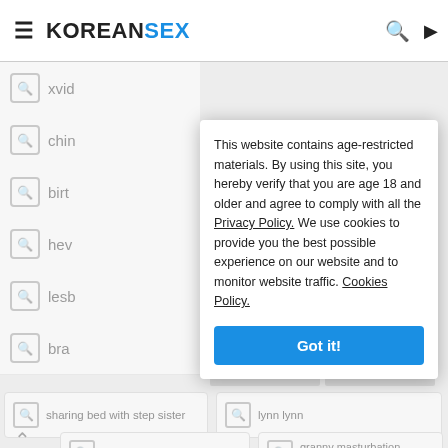KOREANSEX
This website contains age-restricted materials. By using this site, you hereby verify that you are age 18 and older and agree to comply with all the Privacy Policy. We use cookies to provide you the best possible experience on our website and to monitor website traffic. Cookies Policy.
Got it!
xvid
chin
birt
hev
lesb
bra
sharing bed with step sister
lynn lynn
sex with toy
granny masturbation orgasm